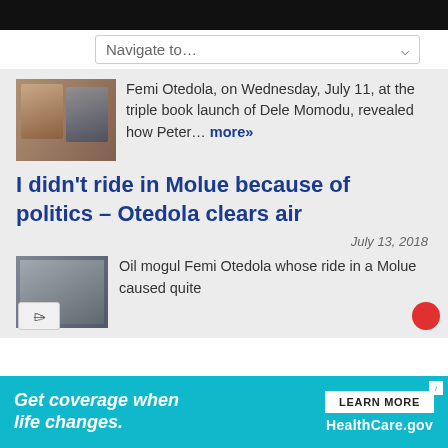[Figure (screenshot): Navigate to... dropdown navigation bar]
Femi Otedola, on Wednesday, July 11, at the triple book launch of Dele Momodu, revealed how Peter… more»
I didn't ride in Molue because of politics – Otedola clears air
July 13, 2018
Oil mogul Femi Otedola whose ride in a Molue caused quite
[Figure (infographic): Advertisement: Get coverage when life changes. LEARN MORE. HealthCare.gov]